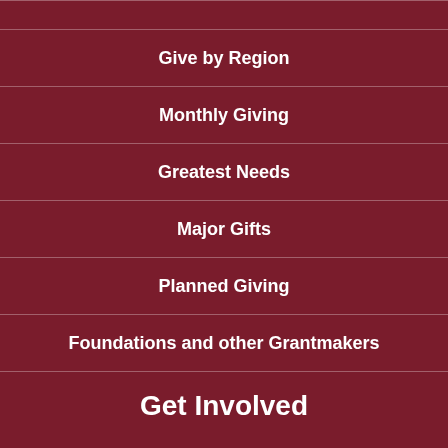Give by Region
Monthly Giving
Greatest Needs
Major Gifts
Planned Giving
Foundations and other Grantmakers
Get Involved